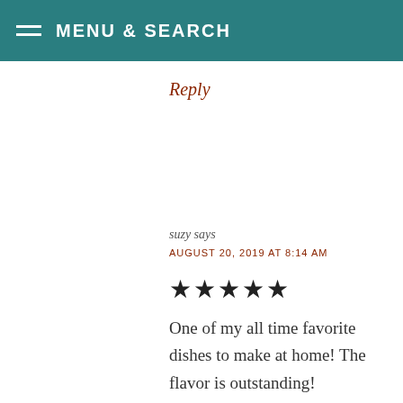MENU & SEARCH
Reply
suzy says
AUGUST 20, 2019 AT 8:14 AM
★★★★★
One of my all time favorite dishes to make at home! The flavor is outstanding!
Reply